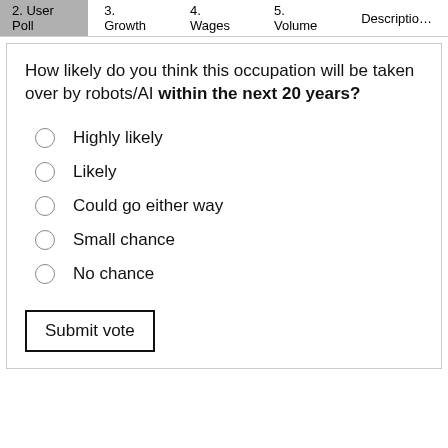2. User Poll | 3. Growth | 4. Wages | 5. Volume | Description
How likely do you think this occupation will be taken over by robots/AI within the next 20 years?
Highly likely
Likely
Could go either way
Small chance
No chance
Submit vote